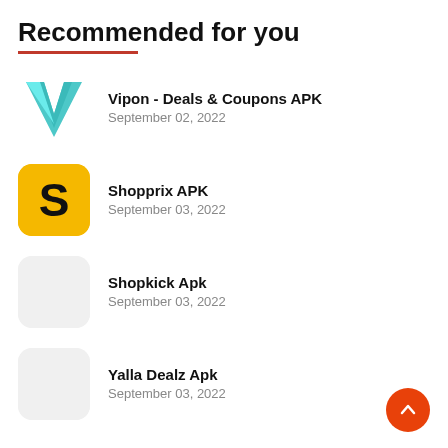Recommended for you
Vipon - Deals & Coupons APK
September 02, 2022
Shopprix APK
September 03, 2022
Shopkick Apk
September 03, 2022
Yalla Dealz Apk
September 03, 2022